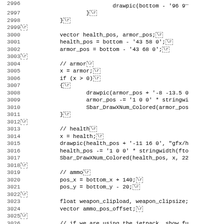Source code listing, lines 2996–3027, showing QuakeC/C++ game code for drawing health, armor, and ammo HUD elements.